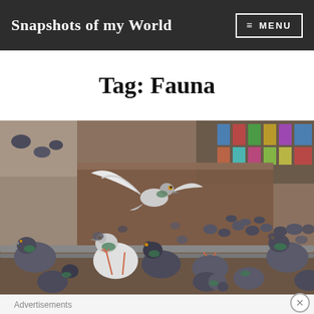Snapshots of my World  ≡ MENU
Tag: Fauna
[Figure (photo): A flock of pigeons gathered on what appears to be a ledge or railing in an urban setting, with some pigeons in flight spreading their wings and many others standing close together. Stone and metal architecture visible in the background.]
Advertisements